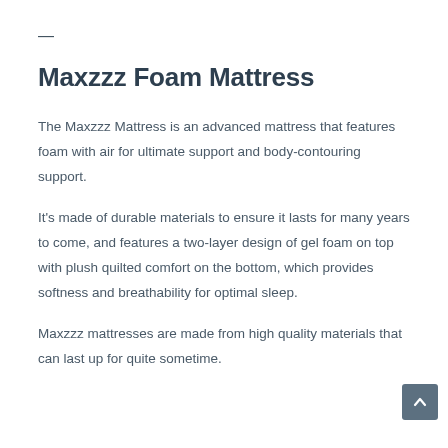—
Maxzzz Foam Mattress
The Maxzzz Mattress is an advanced mattress that features foam with air for ultimate support and body-contouring support.
It's made of durable materials to ensure it lasts for many years to come, and features a two-layer design of gel foam on top with plush quilted comfort on the bottom, which provides softness and breathability for optimal sleep.
Maxzzz mattresses are made from high quality materials that can last up for quite sometime.